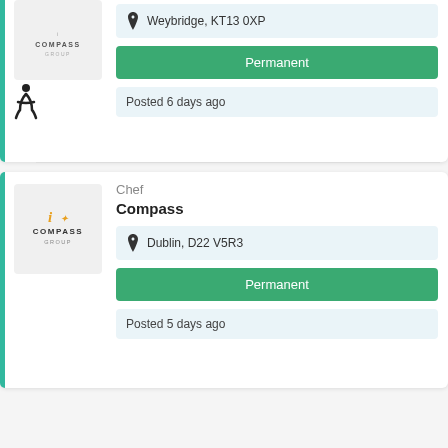[Figure (logo): Compass Group logo (top, partial card)]
Weybridge, KT13 0XP
Permanent
Posted 6 days ago
[Figure (logo): Compass Group logo (bottom card)]
Chef
Compass
Dublin, D22 V5R3
Permanent
Posted 5 days ago